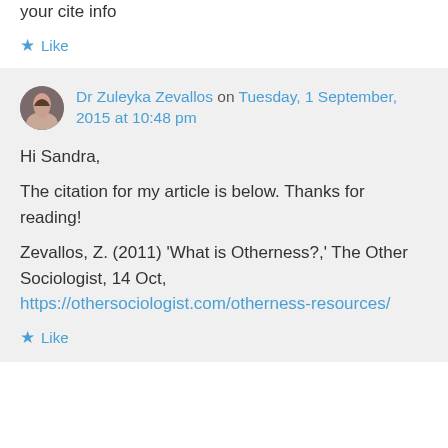I want to cite this page for a paper, but don't see your cite info
★ Like
Dr Zuleyka Zevallos on Tuesday, 1 September, 2015 at 10:48 pm
Hi Sandra,
The citation for my article is below. Thanks for reading!

Zevallos, Z. (2011) 'What is Otherness?,' The Other Sociologist, 14 Oct, https://othersociologist.com/otherness-resources/
★ Like